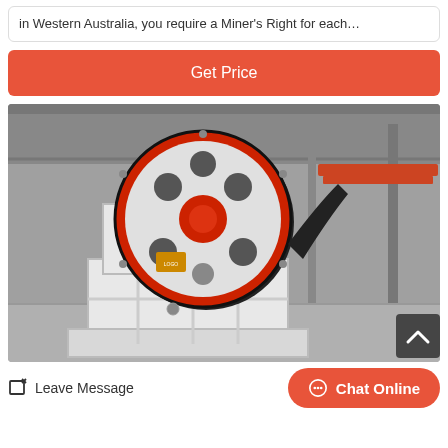in Western Australia, you require a Miner's Right for each…
Get Price
[Figure (photo): Industrial jaw crusher machine with large red flywheel, white body, in a factory/warehouse setting with overhead cranes visible in the background.]
Leave Message
Chat Online